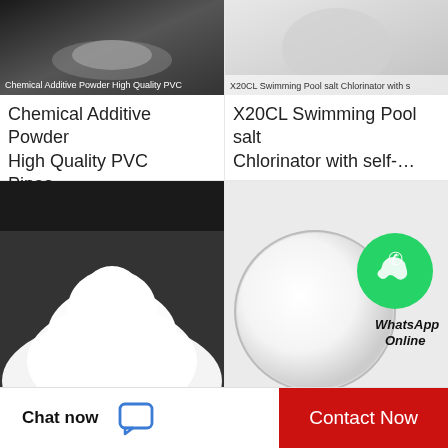[Figure (photo): Chemical Additive Powder High Quality PVC Pipes product photo, dark background]
Chemical Additive Powder High Quality PVC Pipes…
[Figure (photo): X20CL Swimming Pool salt Chlorinator product photo, light background]
X20CL Swimming Pool salt Chlorinator with self-…
[Figure (photo): White powder heap on dark background - High quality custom wholesale mass supplying product]
High quality custom wholesale mass supplyin…
[Figure (photo): White powder in petri dish with WhatsApp Online badge - Factory Supply Good Quality Cheap Price]
Factory Supply Good Quality Cheap Price…
Chat now
Contact Now